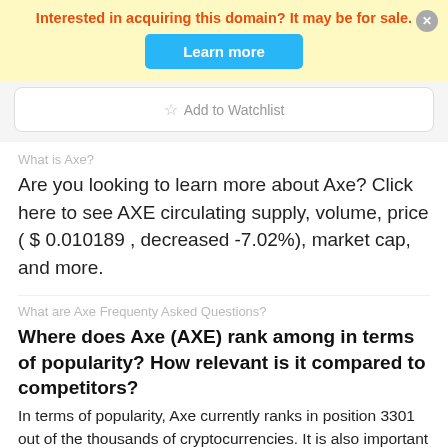Interested in acquiring this domain? It may be for sale.
Learn more
Add to Watchlist
What is Axe?
Are you looking to learn more about Axe? Click here to see AXE circulating supply, volume, price ( $ 0.010189 , decreased -7.02%), market cap, and more.
What are Axe Frequenty Asked Questions?
Where does Axe (AXE) rank among in terms of popularity? How relevant is it compared to competitors?
In terms of popularity, Axe currently ranks in position 3301 out of the thousands of cryptocurrencies. It is also important